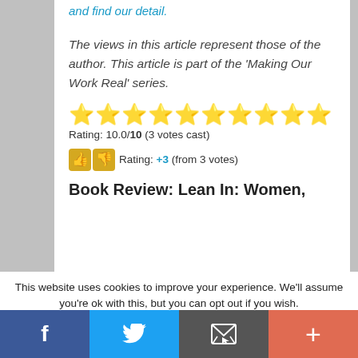and find our detail.
The views in this article represent those of the author. This article is part of the ‘Making Our Work Real’ series.
[Figure (other): Ten gold star rating icons in a row]
Rating: 10.0/10 (3 votes cast)
[Figure (other): Thumbs up and thumbs down icons, Rating: +3 (from 3 votes)]
Book Review: Lean In: Women,
This website uses cookies to improve your experience. We'll assume you're ok with this, but you can opt out if you wish.
[Figure (other): Social sharing bar with Facebook, Twitter, email, and plus buttons]